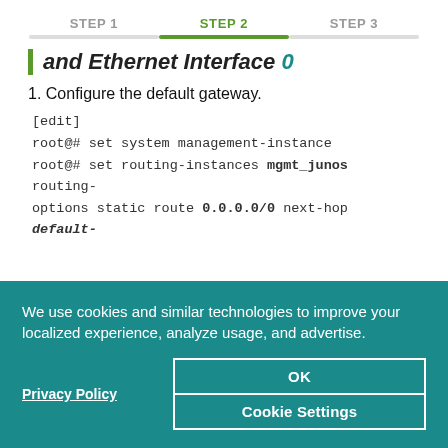STEP 1  STEP 2  STEP 3
and Ethernet Interface 0
Configure the default gateway.
[edit]
root@# set system management-instance
root@# set routing-instances mgmt_junos routing-options static route 0.0.0.0/0 next-hop default-
We use cookies and similar technologies to improve your localized experience, analyze usage, and advertise.
Privacy Policy
OK
Cookie Settings